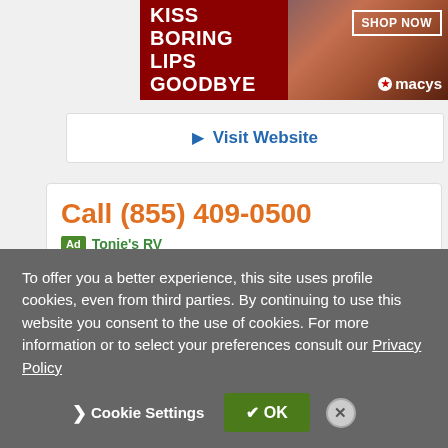[Figure (photo): Macy's banner advertisement with text 'KISS BORING LIPS GOODBYE' and 'SHOP NOW' button, showing a woman with red lipstick on dark red background with Macy's star logo]
▶ Visit Website
Call (855) 409-0500
Ad Tonie's RV
NuCamp, Aliner, Sunset Park Passport, Coachmen Apex Sales, Service, Parts & LP gas
Call (855) 409-0500
To offer you a better experience, this site uses profile cookies, even from third parties. By continuing to use this website you consent to the use of cookies. For more information or to select your preferences consult our Privacy Policy
❯ Cookie Settings
✔ OK